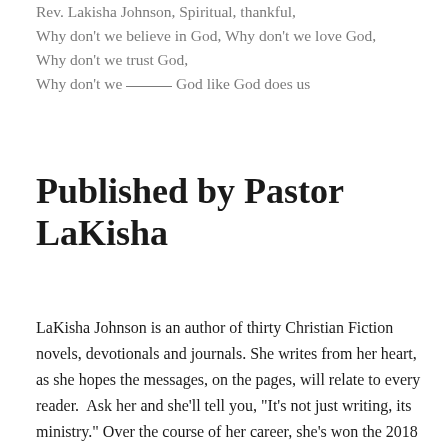Rev. Lakisha Johnson, Spiritual, thankful,
Why don't we believe in God, Why don't we love God,
Why don't we trust God,
Why don't we ____ God like God does us
Published by Pastor LaKisha
LaKisha Johnson is an author of thirty Christian Fiction novels, devotionals and journals. She writes from her heart, as she hopes the messages, on the pages, will relate to every reader.  Ask her and she'll tell you, "It's not just writing, its ministry." Over the course of her career, she's won the 2018 Drunken Druid